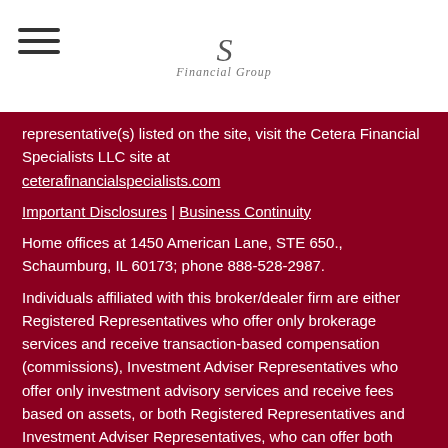S Financial Group logo with hamburger menu
representative(s) listed on the site, visit the Cetera Financial Specialists LLC site at ceterafinancialspecialists.com
Important Disclosures | Business Continuity
Home offices at 1450 American Lane, STE 650., Schaumburg, IL 60173; phone 888-528-2987.
Individuals affiliated with this broker/dealer firm are either Registered Representatives who offer only brokerage services and receive transaction-based compensation (commissions), Investment Adviser Representatives who offer only investment advisory services and receive fees based on assets, or both Registered Representatives and Investment Adviser Representatives, who can offer both types of services.